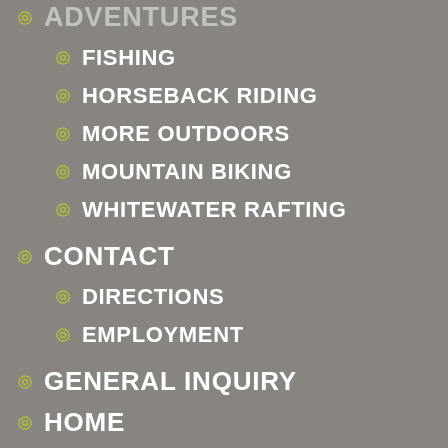ADVENTURES
FISHING
HORSEBACK RIDING
MORE OUTDOORS
MOUNTAIN BIKING
WHITEWATER RAFTING
CONTACT
DIRECTIONS
EMPLOYMENT
GENERAL INQUIRY
HOME
HORSEBACK...